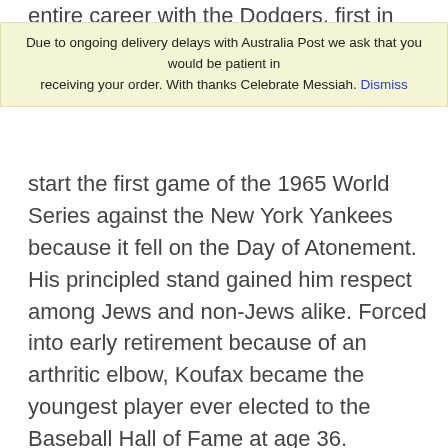entire career with the Dodgers, first in
Due to ongoing delivery delays with Australia Post we ask that you would be patient in receiving your order. With thanks Celebrate Messiah. Dismiss
start the first game of the 1965 World Series against the New York Yankees because it fell on the Day of Atonement. His principled stand gained him respect among Jews and non-Jews alike. Forced into early retirement because of an arthritic elbow, Koufax became the youngest player ever elected to the Baseball Hall of Fame at age 36.
Many other Brooklyn Jews have helped to shape American culture, including United States Senator Barbara Boxer and high-profile attorneys Alan Dershowitz and Jay